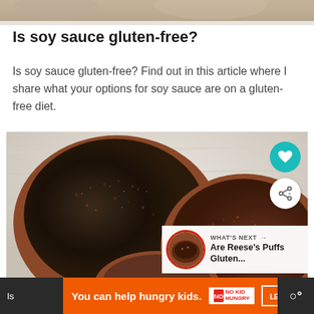[Figure (photo): Top banner photo cropped — appears to show hands or food items, partially visible at top of page]
Is soy sauce gluten-free?
Is soy sauce gluten-free? Find out in this article where I share what your options for soy sauce are on a gluten-free diet.
[Figure (photo): Two terracotta bowls filled with black and dark red quinoa/seeds on a white wooden surface, with a third bowl partially visible at bottom]
Is
You can help hungry kids.
LEARN HOW
WHAT'S NEXT → Are Reese's Puffs Gluten...